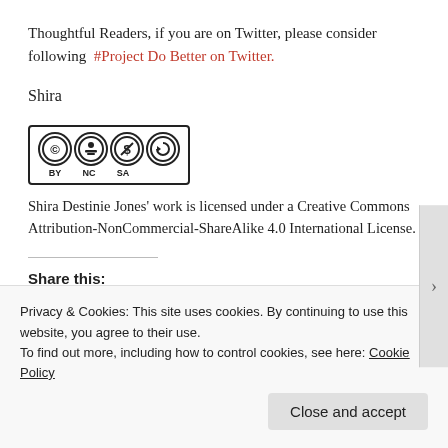Thoughtful Readers, if you are on Twitter, please consider following  #Project Do Better on Twitter.
Shira
[Figure (logo): Creative Commons BY NC SA license badge with CC, person, dollar-sign-crossed, and share-alike icons]
Shira Destinie Jones' work is licensed under a Creative Commons Attribution-NonCommercial-ShareAlike 4.0 International License.
Share this:
Privacy & Cookies: This site uses cookies. By continuing to use this website, you agree to their use. To find out more, including how to control cookies, see here: Cookie Policy
Close and accept